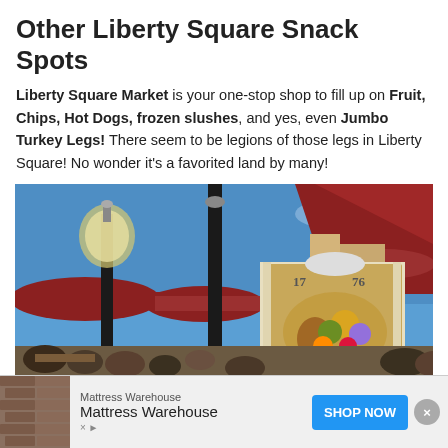Other Liberty Square Snack Spots
Liberty Square Market is your one-stop shop to fill up on Fruit, Chips, Hot Dogs, frozen slushes, and yes, even Jumbo Turkey Legs! There seem to be legions of those legs in Liberty Square! No wonder it’s a favorited land by many!
[Figure (photo): Outdoor photo of Liberty Square Market at Walt Disney World, showing the market sign with cornucopia logo reading '1776 Liberty Square Market', black lamp posts, red umbrella-covered seating areas, blue sky, and crowds of visitors.]
[Figure (infographic): Advertisement banner for Mattress Warehouse with a blue 'SHOP NOW' button, showing a brick-pattern thumbnail image on the left, 'Mattress Warehouse' branding text, and a close (X) button on the right.]